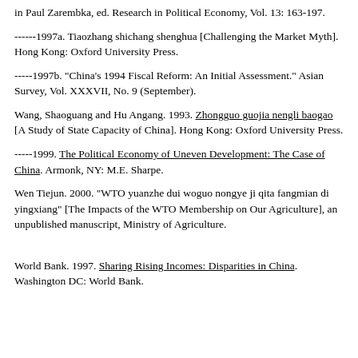in Paul Zarembka, ed. Research in Political Economy, Vol. 13: 163-197.
------1997a. Tiaozhang shichang shenghua [Challenging the Market Myth]. Hong Kong: Oxford University Press.
-----1997b. "China's 1994 Fiscal Reform: An Initial Assessment." Asian Survey, Vol. XXXVII, No. 9 (September).
Wang, Shaoguang and Hu Angang. 1993. Zhongguo guojia nengli baogao [A Study of State Capacity of China]. Hong Kong: Oxford University Press.
-----1999. The Political Economy of Uneven Development: The Case of China. Armonk, NY: M.E. Sharpe.
Wen Tiejun. 2000. "WTO yuanzhe dui woguo nongye ji qita fangmian di yingxiang" [The Impacts of the WTO Membership on Our Agriculture], an unpublished manuscript, Ministry of Agriculture.
World Bank. 1997. Sharing Rising Incomes: Disparities in China. Washington DC: World Bank.